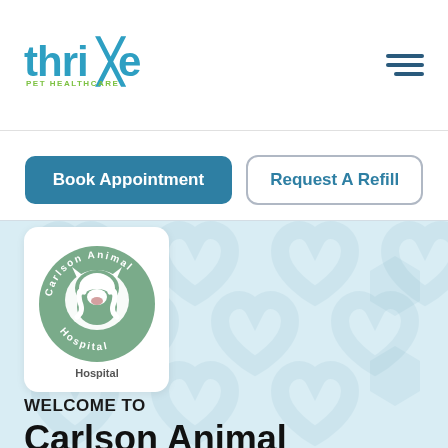[Figure (logo): Thrive Pet Healthcare logo with blue text and green 'PET HEALTHCARE' subtitle]
[Figure (illustration): Hamburger menu icon with three dark blue horizontal lines]
Book Appointment
Request A Refill
[Figure (logo): Carlson Animal Hospital circular logo with green background showing a dog and cat silhouette and text around the border]
WELCOME TO
Carlson Animal Hospital
At Carlson Animal Hospital, we offer primary care for